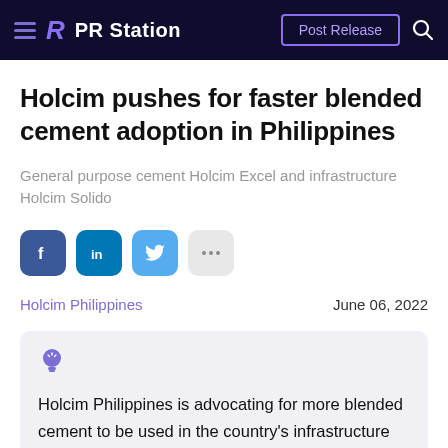PR Station | Post Release
Holcim pushes for faster blended cement adoption in Philippines
General purpose cement Holcim Excel and infrastructure Holcim Solido
Holcim Philippines | June 06, 2022
Holcim Philippines is advocating for more blended cement to be used in the country's infrastructure given its performance and sustainability